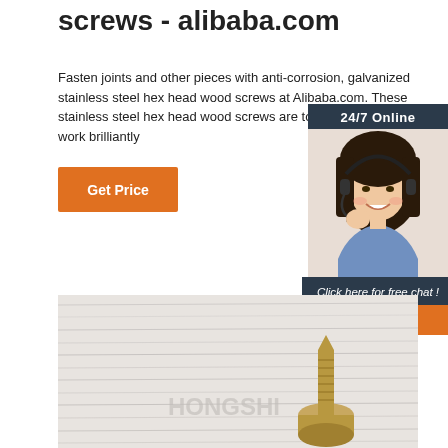screws - alibaba.com
Fasten joints and other pieces with anti-corrosion, galvanized stainless steel hex head wood screws at Alibaba.com. These stainless steel hex head wood screws are tough, durable and work brilliantly
Get Price
[Figure (photo): Chat widget showing a woman wearing a headset with '24/7 Online' header, 'Click here for free chat!' text, and a QUOTATION button]
[Figure (photo): Product photo showing a stainless steel hex head wood screw on a light wood grain surface with HONGSHI watermark]